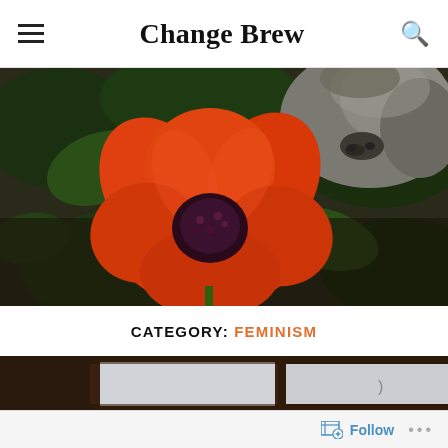Change Brew
[Figure (photo): Close-up of a large orange-red poppy flower with dark purple center, with a dog's muzzle sniffing it from above, surrounded by green leaves and dark soil]
CATEGORY: FEMINISM
[Figure (photo): Interior view looking out through a large multi-pane window showing overcast grey sky, with a beige/yellow curtain visible on the right side]
Follow ...